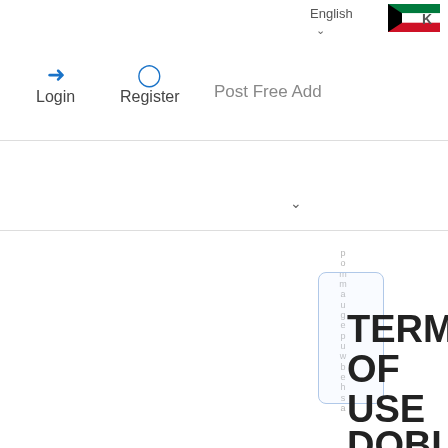English
Login
Register
Post Free Add
TERMS OF USE DOBUYN DISCLAIM